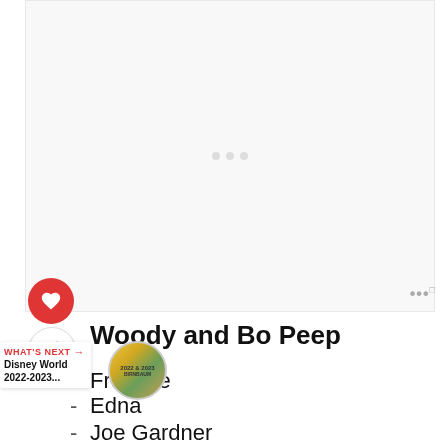[Figure (other): Large blank/loading image area with three loading dots in the center]
[Figure (other): Red circular heart/favorite button]
[Figure (other): Share button (circle with share icon)]
Woody and Bo Peep
Frozone
Edna
Joe Gardner
WHAT'S NEXT → Disney World 2022-2023...
[Figure (other): Circular thumbnail showing Disney World 2022 & 2023 guide book cover]